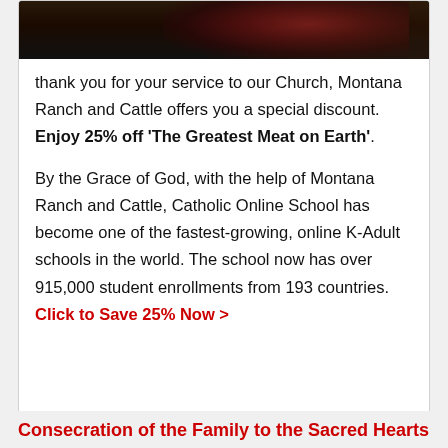[Figure (photo): Dark food photography image showing meat with garnishes on a dark background, cropped to show just the bottom portion]
thank you for your service to our Church, Montana Ranch and Cattle offers you a special discount. Enjoy 25% off ‘The Greatest Meat on Earth’.
By the Grace of God, with the help of Montana Ranch and Cattle, Catholic Online School has become one of the fastest-growing, online K-Adult schools in the world. The school now has over 915,000 student enrollments from 193 countries. Click to Save 25% Now >
Consecration of the Family to the Sacred Hearts